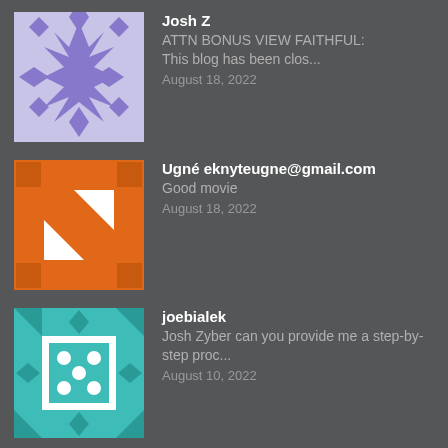[Figure (illustration): Purple and white geometric pattern avatar for Josh Z]
Josh Z
ATTN BONUS VIEW FAITHFUL:
This blog has been clos...
August 18, 2022
[Figure (illustration): Orange and white geometric pattern avatar for Ugne]
Ugné eknyteugne@gmail.com
Good movie
August 18, 2022
[Figure (illustration): Teal and white geometric pattern avatar for joebialek]
joebialek
Josh Zyber can you provide me a step-by-step proc...
August 10, 2022
Sites We Love
Ben's Bargains
DVD Talk
Engadget HD
Gizmodo
Steve's Digicams
Search The Bonus View